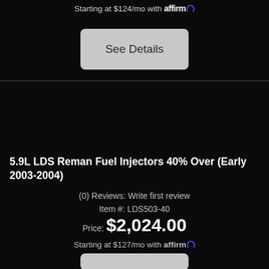Starting at $124/mo with affirm
See Details
5.9L LDS Reman Fuel Injectors 40% Over (Early 2003-2004)
(0) Reviews: Write first review
Item #: LDS503-40
Price: $2,024.00
Starting at $127/mo with affirm